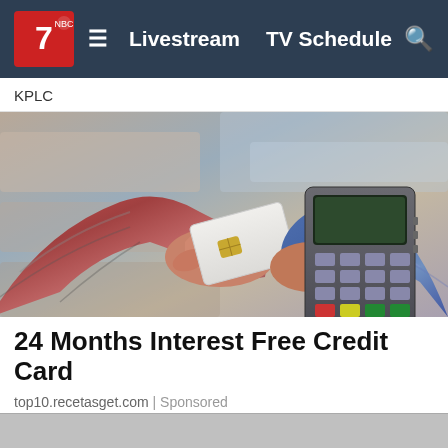Livestream   TV Schedule
KPLC
[Figure (photo): A person in a red plaid shirt handing a white credit/chip card toward a payment terminal held by another person in a blue plaid shirt.]
24 Months Interest Free Credit Card
top10.recetasget.com | Sponsored